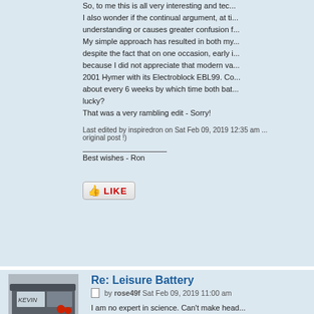I also wonder if the continual argument, at ti... understanding or causes greater confusion f... My simple approach has resulted in both my ... despite the fact that on one occasion, early i... because I did not appreciate that modern va... 2001 Hymer with its Electroblock EBL99. Co... about every 6 weeks by which time both bat... lucky?
That was a very rambling edit - Sorry!
Last edited by inspiredron on Sat Feb 09, 2019 12:35 am ... original post !)
Best wishes - Ron
[Figure (photo): Photo of a vehicle (van/motorhome) with 'KEVIN' visible on the window, showing part of the vehicle exterior]
rose49f
Donator
Re: Leisure Battery
by rose49f Sat Feb 09, 2019 11:00 am
I am no expert in science. Can't make head ... are fine. Vehicle and habitation. Don't even k... and it is an 06 model. I have a solar panel a... happens I'll just as my amazing enginner Ga...